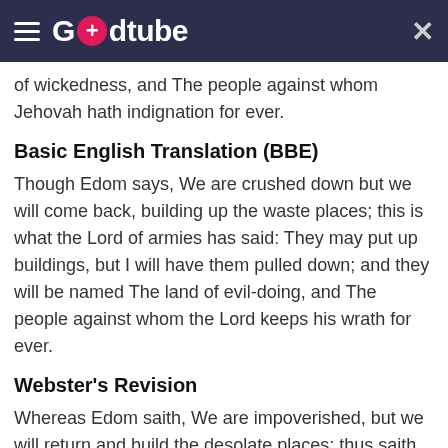Godtube
of wickedness, and The people against whom Jehovah hath indignation for ever.
Basic English Translation (BBE)
Though Edom says, We are crushed down but we will come back, building up the waste places; this is what the Lord of armies has said: They may put up buildings, but I will have them pulled down; and they will be named The land of evil-doing, and The people against whom the Lord keeps his wrath for ever.
Webster's Revision
Whereas Edom saith, We are impoverished, but we will return and build the desolate places; thus saith the LORD of hosts, They shall build, but I will throw down; and they shall call them, The border of wickedness, and, The people against whom the LORD hath indignation for ever.
World English Bible
Whereas Edom says, "We are beaten down, but we will return and build the waste places;" the...